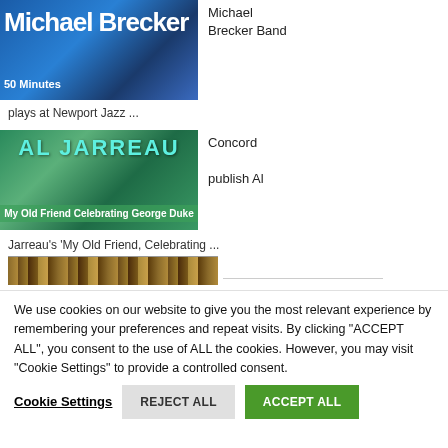[Figure (photo): Michael Brecker album/event thumbnail with blue background and text 'Michael Brecker 50 Minutes']
Michael Brecker Band
plays at Newport Jazz ...
[Figure (photo): Al Jarreau 'My Old Friend Celebrating George Duke' album cover with green/teal background]
Concord publish Al
Jarreau's 'My Old Friend, Celebrating ...
TRENDING IN OTHERS
[Figure (photo): Partial image strip at top of trending section]
We use cookies on our website to give you the most relevant experience by remembering your preferences and repeat visits. By clicking "ACCEPT ALL", you consent to the use of ALL the cookies. However, you may visit "Cookie Settings" to provide a controlled consent.
Cookie Settings
REJECT ALL
ACCEPT ALL